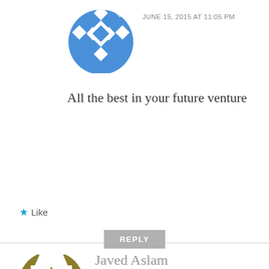[Figure (illustration): Blue geometric diamond/snowflake avatar icon - partially cropped at top]
JUNE 15, 2015 AT 11:05 PM
All the best in your future venture
★ Like
REPLY
[Figure (illustration): Gold/olive geometric snowflake avatar icon]
Javed Aslam
JUNE 15, 2015 AT 11:26 PM
Dear Gaurav,
Androidos.in was one of the first things I check daily and now am sad to hear this, however am sure you are progressing well